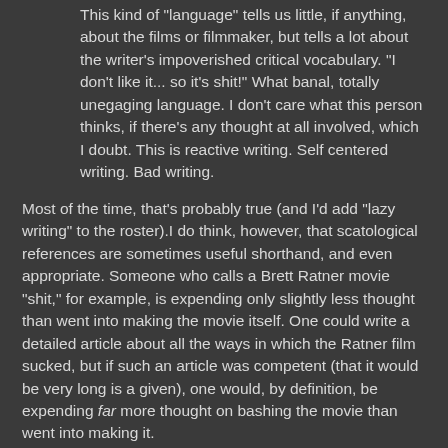This kind of "language" tells us little, if anything, about the films or filmmaker, but tells a lot about the writer's impoverished critical vocabulary. "I don't like it... so it's shit!" What banal, totally unegaging language. I don't care what this person thinks, if there's any thought at all involved, which I doubt. This is reactive writing. Self centered writing. Bad writing.
Most of the time, that's probably true (and I'd add "lazy writing" to the roster).I do think, however, that scatological references are sometimes useful shorthand, and even appropriate. Someone who calls a Brett Ratner movie "shit," for example, is expending only slightly less thought than went into making the movie itself. One could write a detailed article about all the ways in which the Ratner film sucked, but if such an article was competent (that it would be very long is a given), one would, by definition, be expending far more thought on bashing the movie than went into making it.
Sometimes, this can be an amusing exercise--I picture Klaus Kinski and Werner Herzog at a picnic table combing through old books in an effort to find arcane profanities for Kinski to